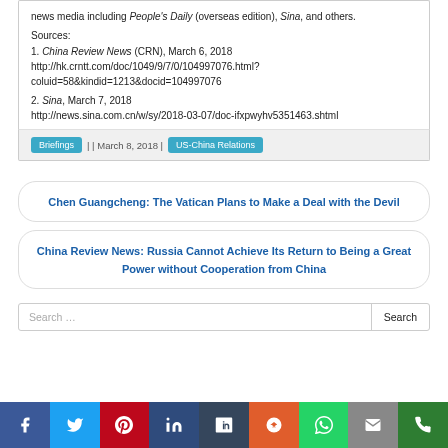news media including People's Daily (overseas edition), Sina, and others.
Sources:
1. China Review News (CRN), March 6, 2018 http://hk.crntt.com/doc/1049/9/7/0/104997076.html?coluid=58&kindid=1213&docid=104997076
2. Sina, March 7, 2018 http://news.sina.com.cn/w/sy/2018-03-07/doc-ifxpwyhv5351463.shtml
Briefings | | March 8, 2018 | US-China Relations
Chen Guangcheng: The Vatican Plans to Make a Deal with the Devil
China Review News: Russia Cannot Achieve Its Return to Being a Great Power without Cooperation from China
Search …